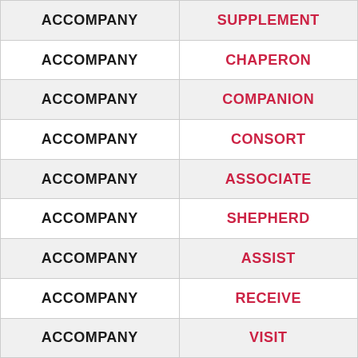| ACCOMPANY | SUPPLEMENT |
| ACCOMPANY | CHAPERON |
| ACCOMPANY | COMPANION |
| ACCOMPANY | CONSORT |
| ACCOMPANY | ASSOCIATE |
| ACCOMPANY | SHEPHERD |
| ACCOMPANY | ASSIST |
| ACCOMPANY | RECEIVE |
| ACCOMPANY | VISIT |